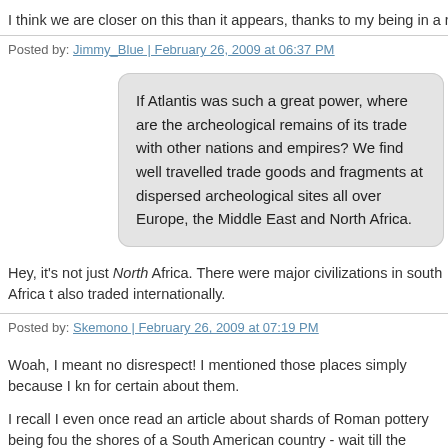I think we are closer on this than it appears, thanks to my being in a rush ea
Posted by: Jimmy_Blue | February 26, 2009 at 06:37 PM
If Atlantis was such a great power, where are the archeological remains of its trade with other nations and empires? We find well travelled trade goods and fragments at dispersed archeological sites all over Europe, the Middle East and North Africa.
Hey, it's not just North Africa. There were major civilizations in south Africa t also traded internationally.
Posted by: Skemono | February 26, 2009 at 07:19 PM
Woah, I meant no disrespect! I mentioned those places simply because I kn for certain about them.
I recall I even once read an article about shards of Roman pottery being fou the shores of a South American country - wait till the Atlantis nutters hear ab